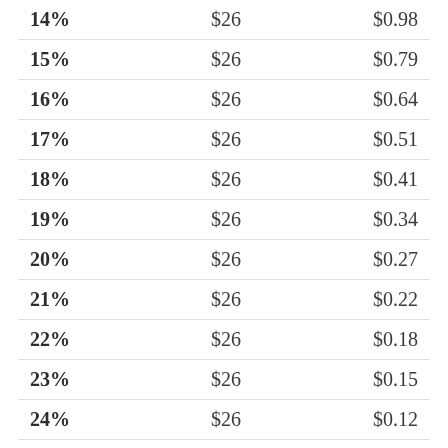| 14% | $26 | $0.98 |
| 15% | $26 | $0.79 |
| 16% | $26 | $0.64 |
| 17% | $26 | $0.51 |
| 18% | $26 | $0.41 |
| 19% | $26 | $0.34 |
| 20% | $26 | $0.27 |
| 21% | $26 | $0.22 |
| 22% | $26 | $0.18 |
| 23% | $26 | $0.15 |
| 24% | $26 | $0.12 |